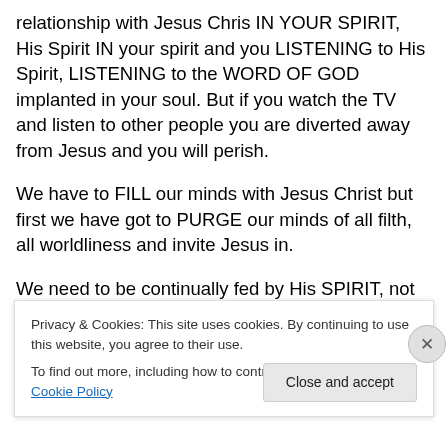relationship with Jesus Chris IN YOUR SPIRIT, His Spirit IN your spirit and you LISTENING to His Spirit, LISTENING to the WORD OF GOD implanted in your soul. But if you watch the TV and listen to other people you are diverted away from Jesus and you will perish.
We have to FILL our minds with Jesus Christ but first we have got to PURGE our minds of all filth, all worldliness and invite Jesus in.
We need to be continually fed by His SPIRIT, not by
Privacy & Cookies: This site uses cookies. By continuing to use this website, you agree to their use.
To find out more, including how to control cookies, see here: Cookie Policy
Close and accept